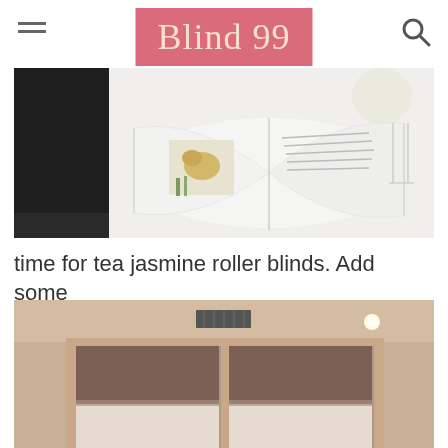Blind 99
[Figure (photo): Open book with flower image on white table surface with wine glass in background]
time for tea jasmine roller blinds. Add some
[Figure (photo): Room interior with roller blinds on window, dark upper portion and light lower sheer section]